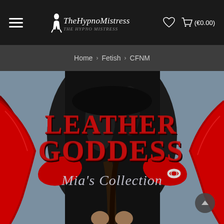TheHypnoMistress — (€0.00)
Home > Fetish > CFNM
[Figure (photo): Product cover image showing 'LEATHER GODDESS – Mia's Collection' — a close-up of a person wearing black leather clothing and red leather gloves, with bold red serif text 'LEATHER GODDESS' and italic script 'Mia's Collection' overlaid on the image.]